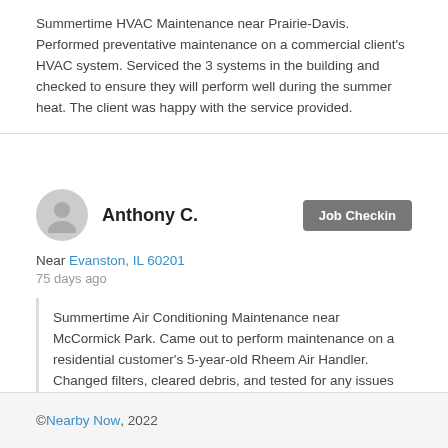Summertime HVAC Maintenance near Prairie-Davis. Performed preventative maintenance on a commercial client's HVAC system. Serviced the 3 systems in the building and checked to ensure they will perform well during the summer heat. The client was happy with the service provided.
Anthony C.
Job Checkin
Near Evanston, IL 60201
75 days ago
Summertime Air Conditioning Maintenance near McCormick Park. Came out to perform maintenance on a residential customer's 5-year-old Rheem Air Handler. Changed filters, cleared debris, and tested for any issues with performance. The system is working well to keep the home cool during these hot summer months.
© Nearby Now, 2022